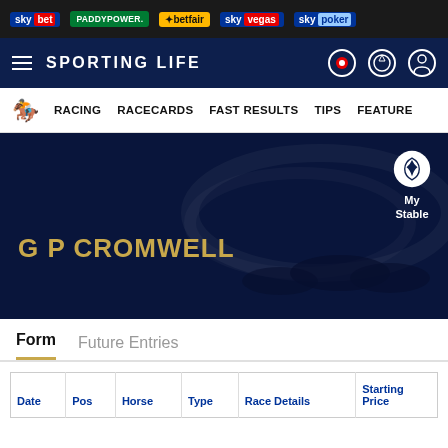sky bet | PADDYPOWER. | betfair | sky vegas | sky poker
SPORTING LIFE
RACING | RACECARDS | FAST RESULTS | TIPS | FEATURES
G P CROMWELL
My Stable
Form | Future Entries
| Date | Pos | Horse | Type | Race Details | Starting Price |
| --- | --- | --- | --- | --- | --- |